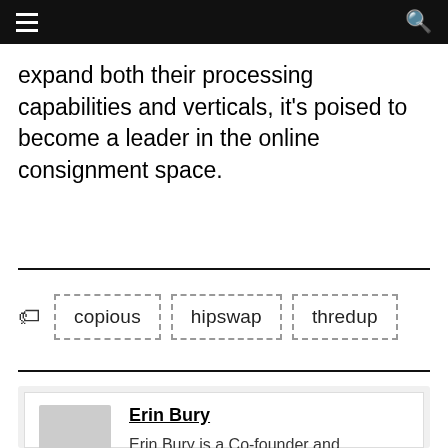[navigation bar with hamburger menu and search icon]
expand both their processing capabilities and verticals, it's poised to become a leader in the online consignment space.
Tags: copious  hipswap  thredup
Erin Bury — Erin Bury is a Co-founder and